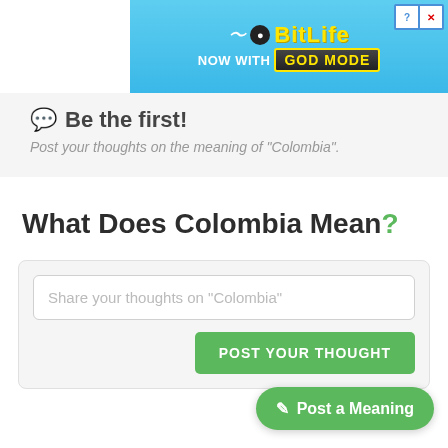[Figure (screenshot): BitLife advertisement banner with 'NOW WITH GOD MODE' text on blue background with cartoon hand and sperm character]
Be the first!
Post your thoughts on the meaning of "Colombia".
What Does Colombia Mean?
Share your thoughts on “Colombia”
POST YOUR THOUGHT
Post a Meaning